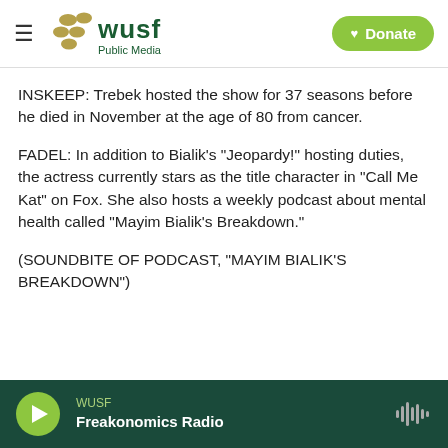[Figure (logo): WUSF Public Media logo with hamburger menu icon and green Donate button]
INSKEEP: Trebek hosted the show for 37 seasons before he died in November at the age of 80 from cancer.
FADEL: In addition to Bialik's "Jeopardy!" hosting duties, the actress currently stars as the title character in "Call Me Kat" on Fox. She also hosts a weekly podcast about mental health called "Mayim Bialik's Breakdown."
(SOUNDBITE OF PODCAST, "MAYIM BIALIK'S BREAKDOWN")
[Figure (screenshot): WUSF audio player bar at bottom: green play button, WUSF label, Freakonomics Radio show title, waveform icon on right]